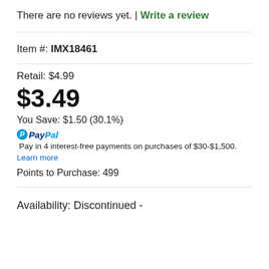There are no reviews yet. | Write a review
Item #: IMX18461
Retail: $4.99
$3.49
You Save: $1.50 (30.1%)
PayPal Pay in 4 interest-free payments on purchases of $30-$1,500. Learn more
Points to Purchase: 499
Availability: Discontinued -